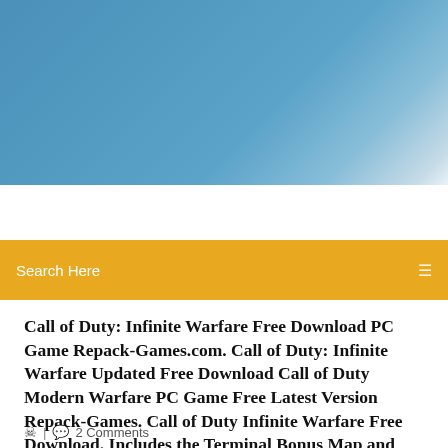[Figure (photo): Blue sky gradient header image]
Search Here
Call of Duty: Infinite Warfare Free Download PC Game Repack-Games.com. Call of Duty: Infinite Warfare Updated Free Download Call of Duty Modern Warfare PC Game Free Latest Version Repack-Games. Call of Duty Infinite Warfare Free Download. Includes the Terminal Bonus Map and Zombies in Spaceland Pack, contains a weapon camo, calling card, and a Fate and Fortune Card Pack Infinite Warfare
2 Comments